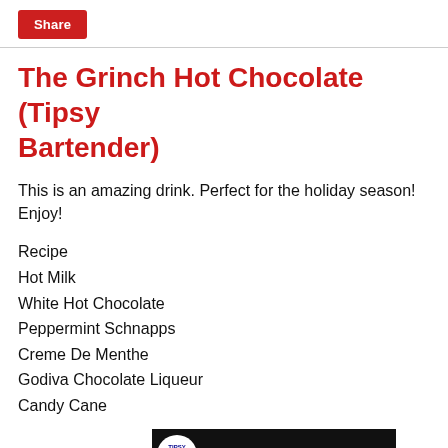Share
The Grinch Hot Chocolate (Tipsy Bartender)
This is an amazing drink. Perfect for the holiday season! Enjoy!
Recipe
Hot Milk
White Hot Chocolate
Peppermint Schnapps
Creme De Menthe
Godiva Chocolate Liqueur
Candy Cane
[Figure (screenshot): YouTube video thumbnail for 'The Grinch Hot Ch...' by Tipsy Bartender, showing the Tipsy logo, video title, and a thumbnail image with 'HOT CHOCOLATE' label and holiday imagery.]